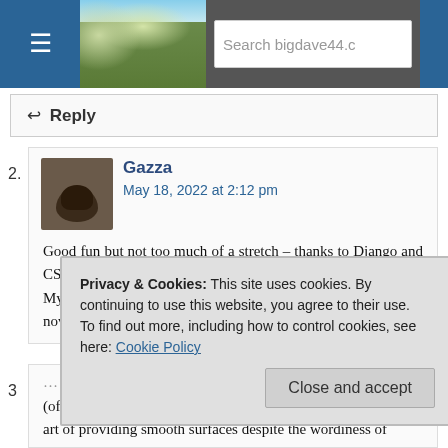[Figure (screenshot): Website header with hamburger menu icon, green countryside hero image, search box showing 'Search bigdave44.c', and blue right panel]
↩ Reply
Gazza
May 18, 2022 at 2:12 pm
Good fun but not too much of a stretch – thanks to Django and CS.
My ticks went to 17a, 3d and 23d with my favourite being the novel 17d.
Privacy & Cookies: This site uses cookies. By continuing to use this website, you agree to their use.
To find out more, including how to control cookies, see here: Cookie Policy
Close and accept
(off-)white space in the clue columns, but he has mastered the art of providing smooth surfaces despite the wordiness of